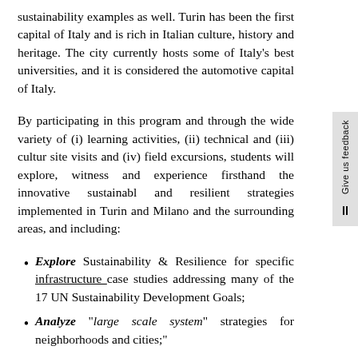sustainability examples as well. Turin has been the first capital of Italy and is rich in Italian culture, history and heritage. The city currently hosts some of Italy's best universities, and it is considered the automotive capital of Italy.
By participating in this program and through the wide variety of (i) learning activities, (ii) technical and (iii) cultural site visits and (iv) field excursions, students will explore, witness and experience firsthand the innovative sustainable and resilient strategies implemented in Turin and Milano and the surrounding areas, and including:
Explore Sustainability & Resilience for specific infrastructure case studies addressing many of the 17 UN Sustainability Development Goals;
Analyze "large scale system" strategies for neighborhoods and cities;"
Examine "project level" specific interventions;
Learn & apply life cycle analysis methods and